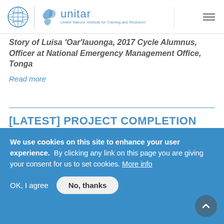UNITAR - United Nations Institute for Training and Research
Story of Luisa 'Oar'lauonga, 2017 Cycle Alumnus, Officer at National Emergency Management Office, Tonga
Read more
[LATEST] PROJECT COMPLETION REPORTS 2020
We use cookies on this site to enhance your user experience.  By clicking any link on this page you are giving your consent for us to set cookies. More info
OK, I agree
No, thanks